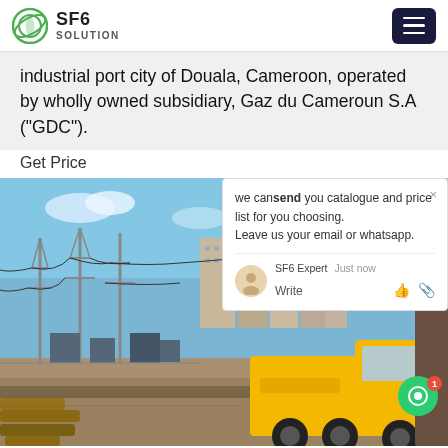SF6 SOLUTION
industrial port city of Douala, Cameroon, operated by wholly owned subsidiary, Gaz du Cameroun S.A ("GDC").
Get Price
[Figure (photo): Electrical substation with transmission towers and a yellow utility truck in foreground, with urban buildings in background. A chat popup overlay is visible on the right side.]